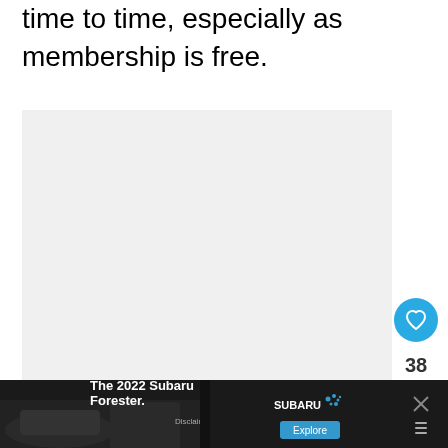time to time, especially as membership is free.
[Figure (photo): Large light gray placeholder image area]
[Figure (other): Heart/like button (blue circle with heart icon), count label showing 38, share button (white circle with share icon)]
[Figure (photo): Advertisement banner: The 2022 Subaru Forester. Car interior image on black background with Subaru logo and Explore button, close X button, and weather/temperature icon.]